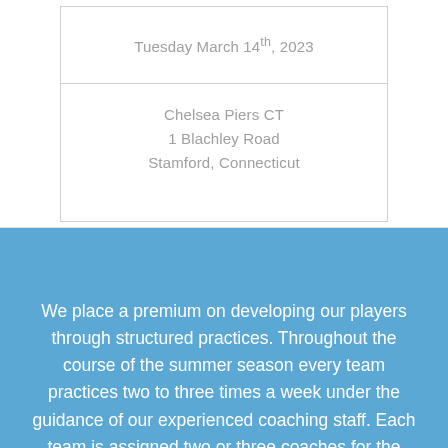Tuesday March 14th, 2023
Chelsea Piers CT
1 Blachley Road
Stamford, Connecticut
We place a premium on developing our players through structured practices. Throughout the course of the summer season every team practices two to three times a week under the guidance of our experienced coaching staff. Each team is assigned two or three coaches for the summer...